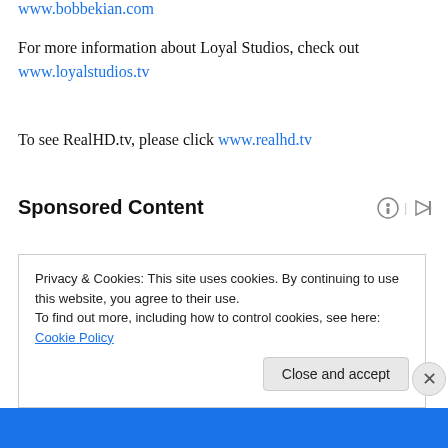www.bobbekian.com
For more information about Loyal Studios, check out www.loyalstudios.tv
To see RealHD.tv, please click www.realhd.tv
Sponsored Content
Privacy & Cookies: This site uses cookies. By continuing to use this website, you agree to their use.
To find out more, including how to control cookies, see here: Cookie Policy
Close and accept